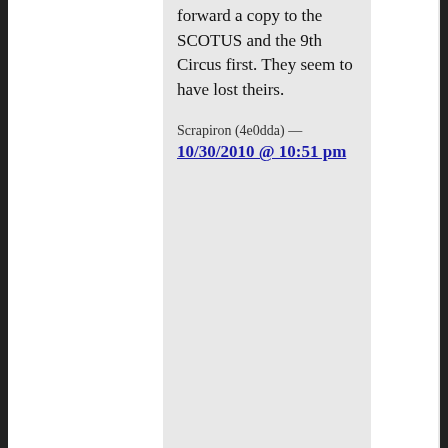forward a copy to the SCOTUS and the 9th Circus first. They seem to have lost theirs.
Scrapiron (4e0dda) — 10/30/2010 @ 10:51 pm
10. Wow. Just the latest in the trend of conveniently tipping the scales to fit one's needs. Sonya and 'El' and their activist views sort of taint the idea of